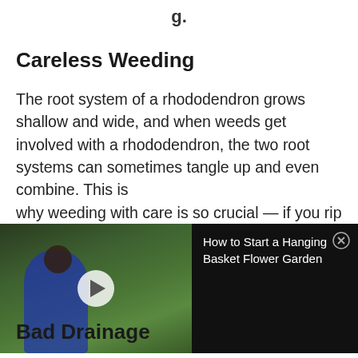g.
Careless Weeding
The root system of a rhododendron grows shallow and wide, and when weeds get involved with a rhododendron, the two root systems can sometimes tangle up and even combine. This is why weeding with care is so crucial — if you rip up
[Figure (screenshot): Video thumbnail showing a woman in a blue dress in a garden setting, with a play button overlay, and a black panel to the right showing the title 'How to Start a Hanging Basket Flower Garden' with a close button]
Bad Drainage